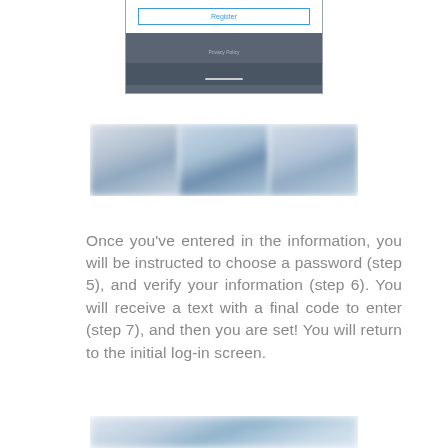[Figure (screenshot): Phone app screenshot showing a Register button and Privacy Policy link on a dark gray background]
[Figure (screenshot): Blurred screenshot of a mobile app with three panels showing blurred content]
Once you've entered in the information, you will be instructed to choose a password (step 5), and verify your information (step 6). You will receive a text with a final code to enter (step 7), and then you are set! You will return to the initial log-in screen.
[Figure (screenshot): Blurred screenshot of a mobile app screen at the bottom of the page]